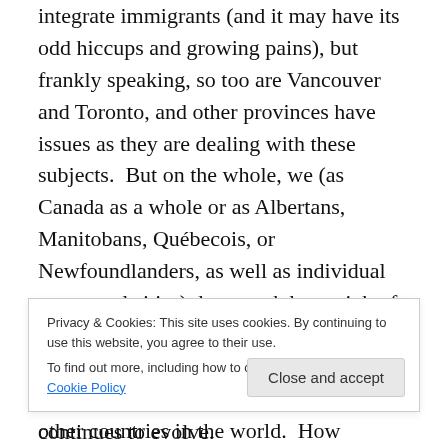integrate immigrants (and it may have its odd hiccups and growing pains), but frankly speaking, so too are Vancouver and Toronto, and other provinces have issues as they are dealing with these subjects.  But on the whole, we (as Canada as a whole or as Albertans, Manitobans, Québecois, or Newfoundlanders, as well as individual towns and cities) do a much better job of dealing with these matters than other parts of the world.  We tolerate and empathize with them more than most other countries in the world.  How Québec's society has waded its way
Privacy & Cookies: This site uses cookies. By continuing to use this website, you agree to their use.
To find out more, including how to control cookies, see here: Cookie Policy
All-in-all, Québec has pulled it off and continues to evolve.